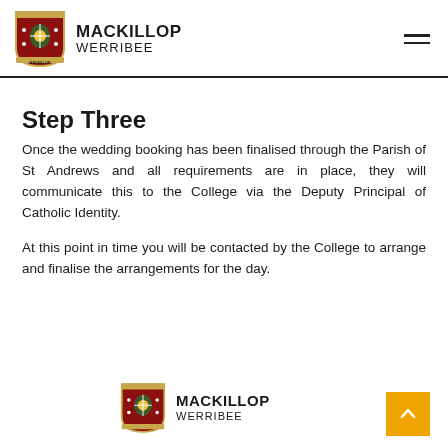MACKILLOP WERRIBEE
Step Three
Once the wedding booking has been finalised through the Parish of St Andrews and all requirements are in place, they will communicate this to the College via the Deputy Principal of Catholic Identity.
At this point in time you will be contacted by the College to arrange and finalise the arrangements for the day.
MACKILLOP WERRIBEE